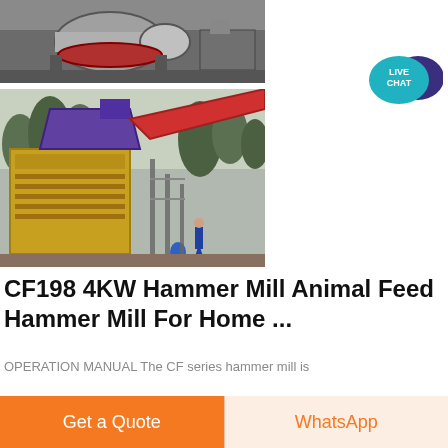[Figure (photo): Industrial ball mill machinery in a factory setting, grey tones]
[Figure (photo): Large yellow industrial crusher/hammer mill machine at a construction site with a worker standing nearby]
[Figure (illustration): Live Chat speech bubble icon in teal and dark blue]
CF198 4KW Hammer Mill Animal Feed Hammer Mill For Home ...
OPERATION MANUAL The CF series hammer mill is
Get a Quote
WhatsApp